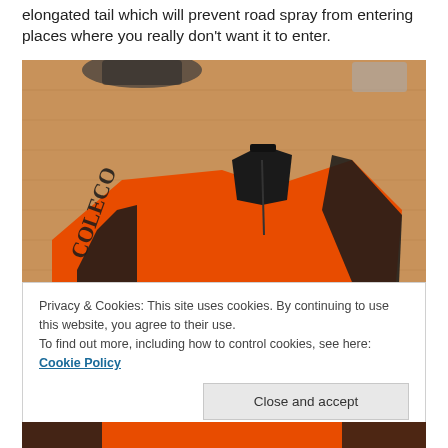elongated tail which will prevent road spray from entering places where you really don't want it to enter.
[Figure (photo): Orange and black cycling jersey/jacket laid flat on a wooden floor surface, with brand lettering visible on the sleeve]
Privacy & Cookies: This site uses cookies. By continuing to use this website, you agree to their use.
To find out more, including how to control cookies, see here: Cookie Policy
[Figure (photo): Partial view of orange and black cycling garment at bottom of page]